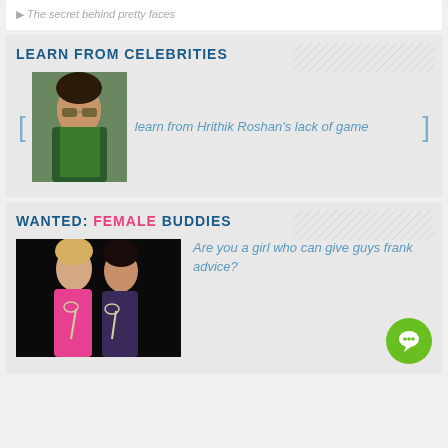The secret behind pretty faces
LEARN FROM CELEBRITIES
[Figure (photo): Photo of Hrithik Roshan wearing sunglasses and a green jacket]
learn from Hrithik Roshan's lack of game
WANTED: FEMALE BUDDIES
[Figure (photo): Photo of two women smiling and holding champagne glasses against a dark background]
Are you a girl who can give guys frank advice?